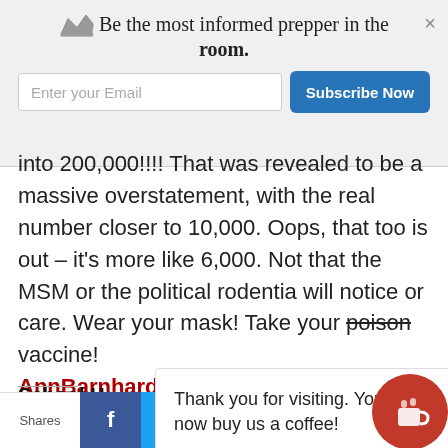[Figure (screenshot): Newsletter subscription banner with crown icon, text 'Be the most informed prepper in the room.', email input field, and blue Subscribe Now button]
into 200,000!!!! That was revealed to be a massive overstatement, with the real number closer to 10,000. Oops, that too is out – it's more like 6,000. Not that the MSM or the political rodentia will notice or care. Wear your mask! Take your poison vaccine! AnnBarnhardt
School H
Thank you for visiting. You can now buy us a coffee!
Shares | Facebook | Twitter | Google+ | Pinterest | Email | Crown